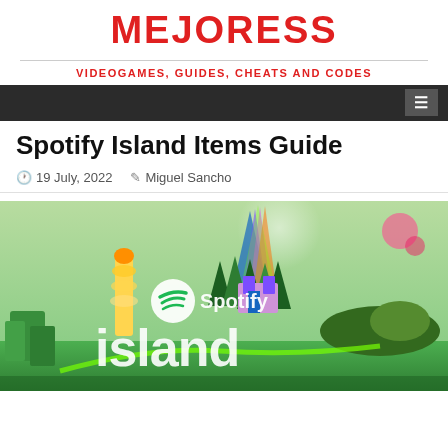MEJORESS
VIDEOGAMES, GUIDES, CHEATS AND CODES
Spotify Island Items Guide
19 July, 2022  Miguel Sancho
[Figure (photo): Spotify Island promotional image showing colorful 3D game world with Spotify logo and 'island' text in white]